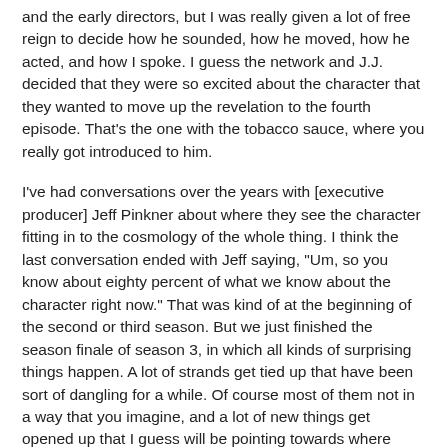and the early directors, but I was really given a lot of free reign to decide how he sounded, how he moved, how he acted, and how I spoke. I guess the network and J.J. decided that they were so excited about the character that they wanted to move up the revelation to the fourth episode. That's the one with the tobacco sauce, where you really got introduced to him.
I've had conversations over the years with [executive producer] Jeff Pinkner about where they see the character fitting in to the cosmology of the whole thing. I think the last conversation ended with Jeff saying, "Um, so you know about eighty percent of what we know about the character right now." That was kind of at the beginning of the second or third season. But we just finished the season finale of season 3, in which all kinds of surprising things happen. A lot of strands get tied up that have been sort of dangling for a while. Of course most of them not in a way that you imagine, and a lot of new things get opened up that I guess will be pointing towards where we're heading next season. Although it's not clear at all where we're going with that. I do know that September, and the Observers in general, are kind of pivotal